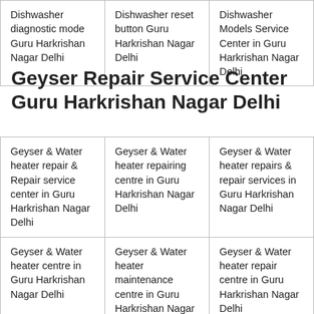| Dishwasher diagnostic mode Guru Harkrishan Nagar Delhi | Dishwasher reset button Guru Harkrishan Nagar Delhi | Dishwasher Models Service Center in Guru Harkrishan Nagar Delhi |
Geyser Repair Service Center Guru Harkrishan Nagar Delhi
| Geyser & Water heater repair & Repair service center in Guru Harkrishan Nagar Delhi | Geyser & Water heater repairing centre in Guru Harkrishan Nagar Delhi | Geyser & Water heater repairs & repair services in Guru Harkrishan Nagar Delhi |
| Geyser & Water heater centre in Guru Harkrishan Nagar Delhi | Geyser & Water heater maintenance centre in Guru Harkrishan Nagar Delhi | Geyser & Water heater repair centre in Guru Harkrishan Nagar Delhi |
| Geyser & Water... | Geyser & Water... | Geyser & Water... |